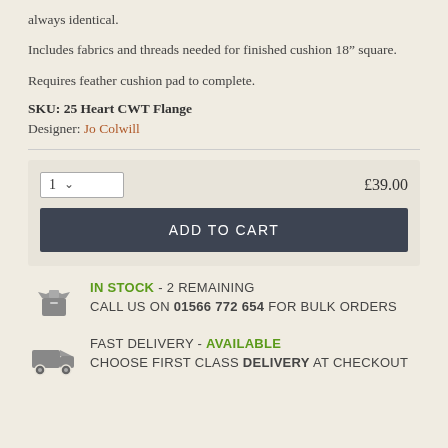always identical.
Includes fabrics and threads needed for finished cushion 18" square.
Requires feather cushion pad to complete.
SKU: 25 Heart CWT Flange
Designer: Jo Colwill
1  £39.00
ADD TO CART
IN STOCK - 2 REMAINING
CALL US ON 01566 772 654 FOR BULK ORDERS
FAST DELIVERY - AVAILABLE
CHOOSE FIRST CLASS DELIVERY AT CHECKOUT